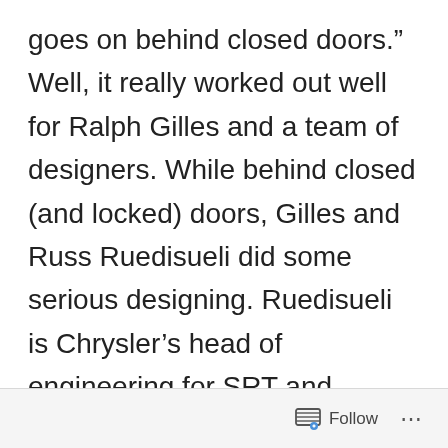goes on behind closed doors.”  Well, it really worked out well for Ralph Gilles and a team of designers.  While behind closed (and locked) doors, Gilles and Russ Ruedisueli did some serious designing.  Ruedisueli is Chrysler’s head of engineering for SRT and Motorsports,.  If that’s not enough, maybe being vehicle line executive for the fifth-generation Dodge Viper is.  But, it’s not a Viper anymore.  Chrysler management decided that the Dodge name wasn’t worthy enough for something that will cost up to $120,000 (before ANY options in the
Follow ...